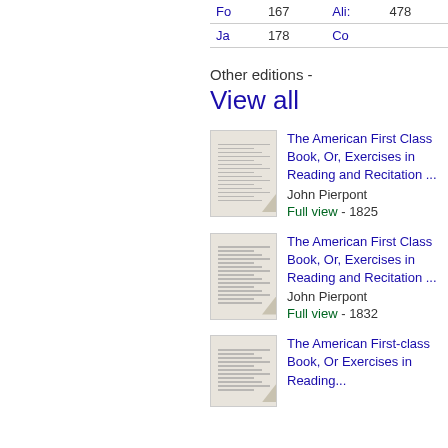| Entry | Page | Entry | Page |
| --- | --- | --- | --- |
| Fo | 167 | Ali: | 478 |
| Ja | 178 | Co |  |
Other editions -
View all
[Figure (illustration): Thumbnail of book cover: The American First Class Book]
The American First Class Book, Or, Exercises in Reading and Recitation ...
John Pierpont
Full view - 1825
[Figure (illustration): Thumbnail of book cover: The American First Class Book second edition]
The American First Class Book, Or, Exercises in Reading and Recitation ...
John Pierpont
Full view - 1832
[Figure (illustration): Thumbnail of book cover: The American First-class Book third edition]
The American First-class Book, Or Exercises in Reading...